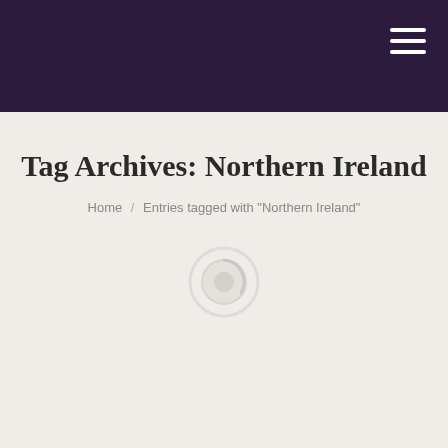Tag Archives: Northern Ireland
Home / Entries tagged with "Northern Ireland"
[Figure (other): Loading spinner / circular icon element]